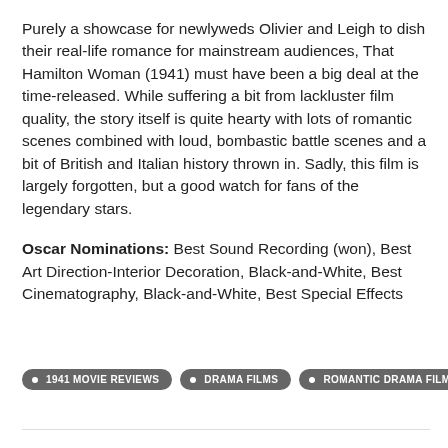Purely a showcase for newlyweds Olivier and Leigh to dish their real-life romance for mainstream audiences, That Hamilton Woman (1941) must have been a big deal at the time-released. While suffering a bit from lackluster film quality, the story itself is quite hearty with lots of romantic scenes combined with loud, bombastic battle scenes and a bit of British and Italian history thrown in. Sadly, this film is largely forgotten, but a good watch for fans of the legendary stars.
Oscar Nominations: Best Sound Recording (won), Best Art Direction-Interior Decoration, Black-and-White, Best Cinematography, Black-and-White, Best Special Effects
1941 MOVIE REVIEWS
DRAMA FILMS
ROMANTIC DRAMA FILMS